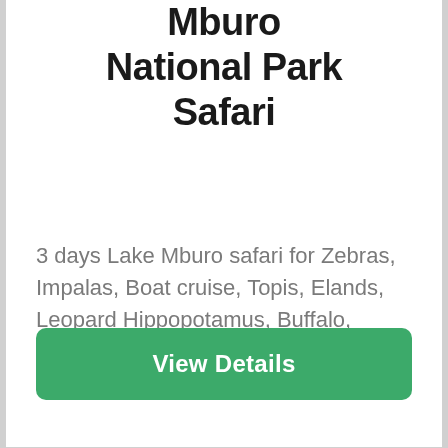Mburo National Park Safari
3 days Lake Mburo safari for Zebras, Impalas, Boat cruise, Topis, Elands, Leopard Hippopotamus, Buffalo, Giraffes, Water bucks and Bushbuck and Birding
View Details